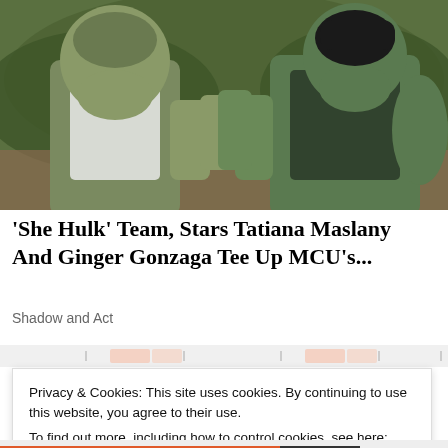[Figure (photo): Two CGI green-skinned Hulk characters facing each other with hands raised in a martial arts pose, outdoor jungle/hillside background. Left figure is male (Hulk/Bruce Banner), right figure is female (She-Hulk/Jennifer Walters). Movie still from 'She-Hulk: Attorney at Law'.]
'She Hulk' Team, Stars Tatiana Maslany And Ginger Gonzaga Tee Up MCU's...
Shadow and Act
Privacy & Cookies: This site uses cookies. By continuing to use this website, you agree to their use.
To find out more, including how to control cookies, see here: Cookie Policy
Close and accept